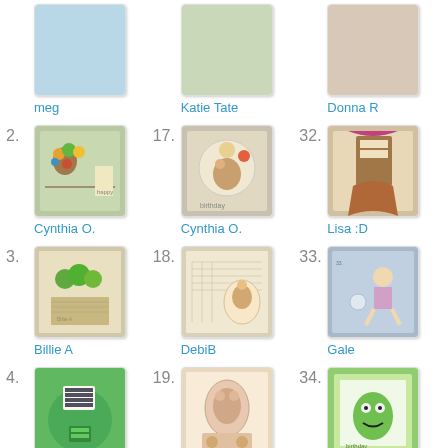meg
17. Katie Tate
Donna R
2. Cynthia O.
17. Cynthia O.
32. Lisa :D
3. Billie A
18. DebiB
33. Gale
4. Sarah M
19. DAISYCHAIN
34. elizabeth h
5.
20.
35.